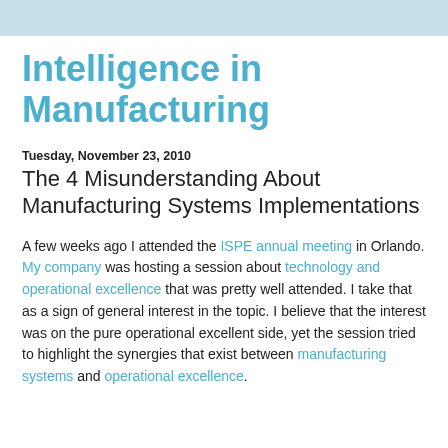Intelligence in Manufacturing
Tuesday, November 23, 2010
The 4 Misunderstanding About Manufacturing Systems Implementations
A few weeks ago I attended the ISPE annual meeting in Orlando. My company was hosting a session about technology and operational excellence that was pretty well attended. I take that as a sign of general interest in the topic. I believe that the interest was on the pure operational excellent side, yet the session tried to highlight the synergies that exist between manufacturing systems and operational excellence.